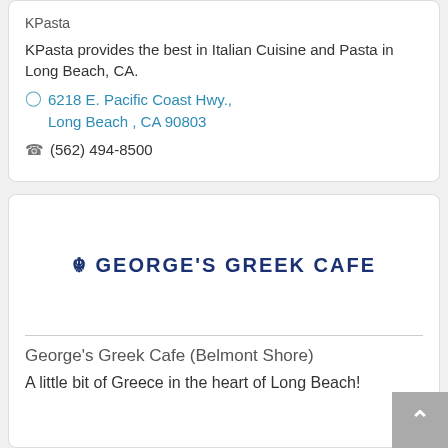KPasta
KPasta provides the best in Italian Cuisine and Pasta in Long Beach, CA.
6218 E. Pacific Coast Hwy., Long Beach , CA 90803
(562) 494-8500
[Figure (logo): George's Greek Cafe logo text in dark blue stylized Greek-style lettering]
George's Greek Cafe (Belmont Shore)
A little bit of Greece in the heart of Long Beach!